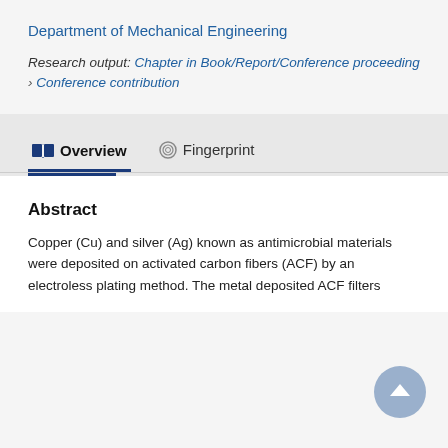Department of Mechanical Engineering
Research output: Chapter in Book/Report/Conference proceeding › Conference contribution
Overview
Fingerprint
Abstract
Copper (Cu) and silver (Ag) known as antimicrobial materials were deposited on activated carbon fibers (ACF) by an electroless plating method. The metal deposited ACF filters